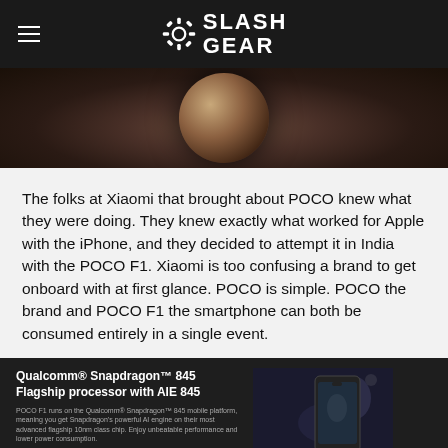SlashGear
[Figure (photo): Close-up photo of a dark, glossy circular metallic object on a dark background]
The folks at Xiaomi that brought about POCO knew what they were doing. They knew exactly what worked for Apple with the iPhone, and they decided to attempt it in India with the POCO F1. Xiaomi is too confusing a brand to get onboard with at first glance. POCO is simple. POCO the brand and POCO F1 the smartphone can both be consumed entirely in a single event.
Qualcomm® Snapdragon™ 845 Flagship processor with AIE 845
POCO F1 runs on the Qualcomm® Snapdragon™ 845 mobile platform, meaning you get Snapdragon's powerful AI engine on their most advanced flagship 10nm class chip. Enjoy unbeatable performance and lower power consumption.
[Figure (photo): Photo of a smartphone (POCO F1) held against a dark background with a blurred scene visible on the screen]